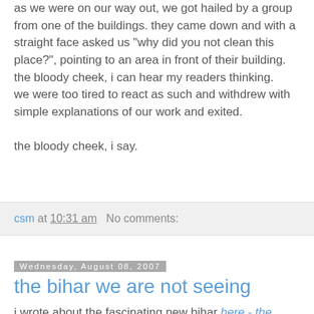as we were on our way out, we got hailed by a group from one of the buildings. they came down and with a straight face asked us "why did you not clean this place?", pointing to an area in front of their building.
the bloody cheek, i can hear my readers thinking.
we were too tired to react as such and withdrew with simple explanations of our work and exited.

the bloody cheek, i say.
csm at 10:31 am   No comments:
Wednesday, August 08, 2007
the bihar we are not seeing
i wrote about the fascinating new bihar here - the bihar we don't know.
and during the same time and as i type this, bihar has been wrecked by flooding.

here are a series of news articles from rediff.